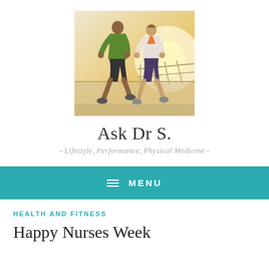[Figure (photo): Two people running outdoors on a bridge/boardwalk in athletic wear, one in green jacket, one in white, backlit by warm sunlight]
Ask Dr S.
- Lifestyle, Performance, Physical Medicine -
MENU
HEALTH AND FITNESS
Happy Nurses Week